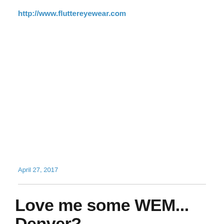http://www.fluttereyewear.com
April 27, 2017
Love me some WEM... Denver?